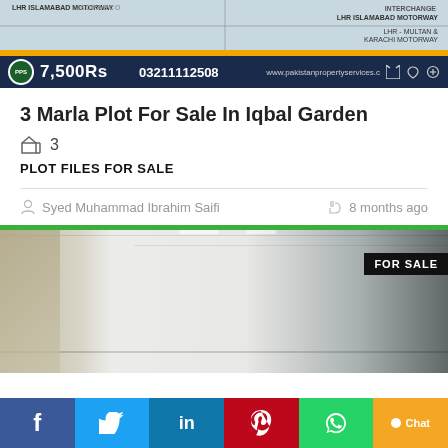[Figure (screenshot): Property listing banner with map showing LHR Islamabad Motorway and interchange location, followed by a dark navy price bar showing 7,500Rs, phone number 03211112508, and website www.pakistanpropertyservices.c]
3 Marla Plot For Sale In Iqbal Garden
3
PLOT FILES FOR SALE
Syed Muhammad Ibrahim Saifi
8 months ago
[Figure (photo): Interior corridor photo of a building with white ceiling, recessed lighting, and a FOR SALE badge in the top right corner]
[Figure (screenshot): Social sharing bar with Facebook, Twitter, LinkedIn, Pinterest, WhatsApp buttons and Chat button]